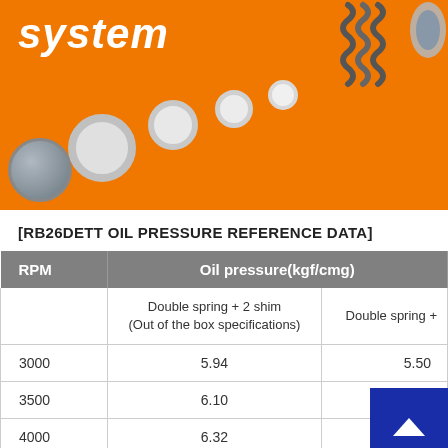[Figure (photo): Orange banner showing the word 'system' in white italic bold text, with mechanical parts: a coil spring at top right, a bolt/plug at bottom left, and several circular washers/shims arranged diagonally across the orange background.]
[RB26DETT OIL PRESSURE REFERENCE DATA]
| RPM | Oil pressure(kgf/cmg) |  |
| --- | --- | --- |
|  | Double spring + 2 shim
(Out of the box specifications) | Double spring + |
| 3000 | 5.94 | 5.50 |
| 3500 | 6.10 | 5.70 |
| 4000 | 6.32 | ...0 |
| 4500 | 6.50 | 5.90 |